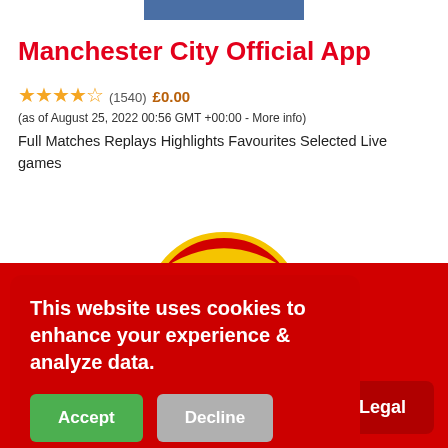Manchester City Official App
★★★★☆ (1540)  £0.00  (as of August 25, 2022 00:56 GMT +00:00 - More info) Full Matches Replays Highlights Favourites Selected Live games
[Figure (logo): Manchester United crest logo with red arch, yellow details, and MANCHESTER text]
This website uses cookies to enhance your experience & analyze data.
Accept
Decline
Legal